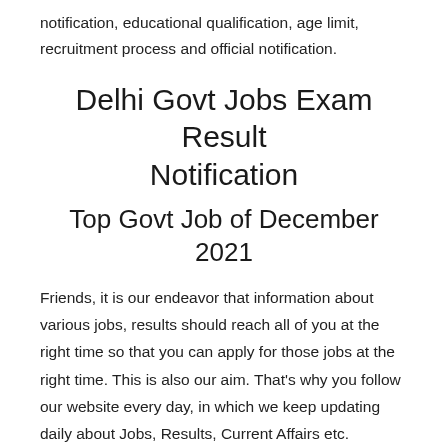notification, educational qualification, age limit, recruitment process and official notification.
Delhi Govt Jobs Exam Result Notification
Top Govt Job of December 2021
Friends, it is our endeavor that information about various jobs, results should reach all of you at the right time so that you can apply for those jobs at the right time. This is also our aim. That’s why you follow our website every day, in which we keep updating daily about Jobs, Results, Current Affairs etc.
If you have any thoughts, suggestions, then do let us know in the comment section below the post. So that we can keep in front of you by removing the shortcomings of the website and making it better. Don’t forget to share all posts with your friends.